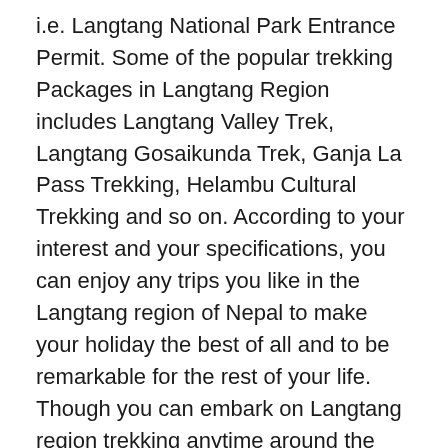i.e. Langtang National Park Entrance Permit. Some of the popular trekking Packages in Langtang Region includes Langtang Valley Trek, Langtang Gosaikunda Trek, Ganja La Pass Trekking, Helambu Cultural Trekking and so on. According to your interest and your specifications, you can enjoy any trips you like in the Langtang region of Nepal to make your holiday the best of all and to be remarkable for the rest of your life. Though you can embark on Langtang region trekking anytime around the year, we recommend you to trek between spring and autumn months. The sceneries will be perfect along with blossoming flora and fauna and there won't be much rainfall and snowfall to create obstacles during the trek. Contact us right now and let's plan an unforgettable and worthy trip for you with our team.
Gosaikunda Helambu Trekking